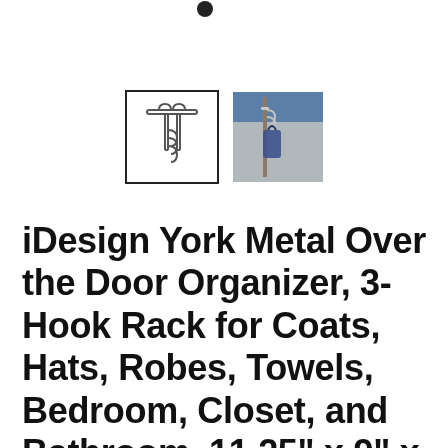[Figure (photo): Small dark hook product image at top of page]
[Figure (photo): First thumbnail showing line drawing of 3-hook over-door rack, selected with black border]
[Figure (photo): Second thumbnail showing photo of the hook rack in use with a blue bag hanging on a door]
iDesign York Metal Over the Door Organizer, 3-Hook Rack for Coats, Hats, Robes, Towels, Bedroom, Closet, and Bathroom, 11.25" x 9" x 2", Set of 2,